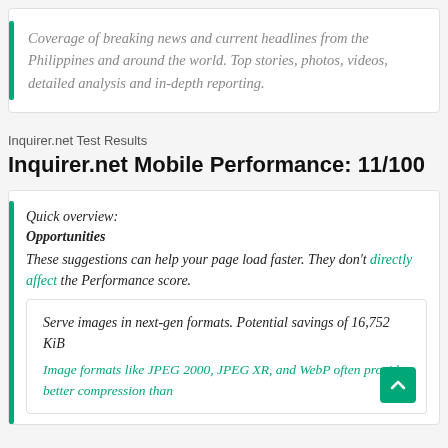Coverage of breaking news and current headlines from the Philippines and around the world. Top stories, photos, videos, detailed analysis and in-depth reporting.
Inquirer.net Test Results
Inquirer.net Mobile Performance: 11/100
Quick overview:
Opportunities
These suggestions can help your page load faster. They don't directly affect the Performance score.
Serve images in next-gen formats. Potential savings of 16,752 KiB
Image formats like JPEG 2000, JPEG XR, and WebP often provide better compression than